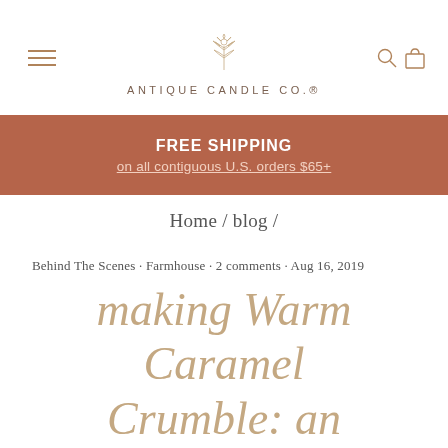[Figure (logo): Antique Candle Co. logo with floral illustration and brand name below]
FREE SHIPPING
on all contiguous U.S. orders $65+
Home / blog /
Behind The Scenes · Farmhouse · 2 comments · Aug 16, 2019
making Warm Caramel Crumble: an interview with Sarah Joy